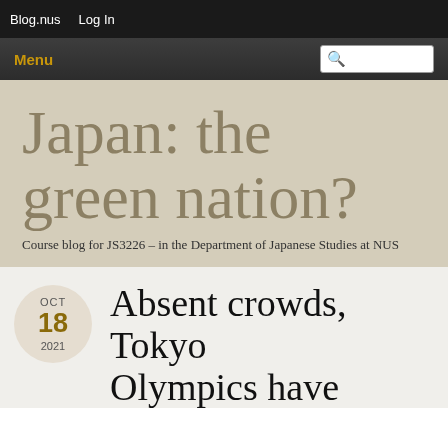Blog.nus Log In
Menu
Japan: the green nation?
Course blog for JS3226 – in the Department of Japanese Studies at NUS
OCT 18 2021
Absent crowds, Tokyo Olympics have